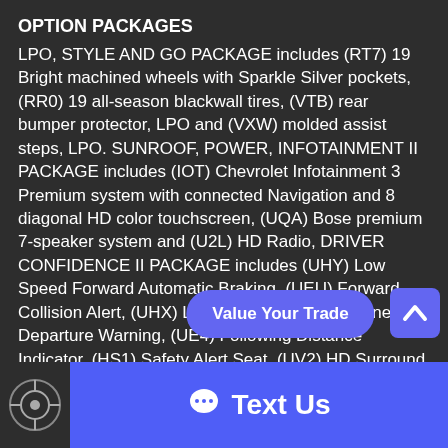OPTION PACKAGES
LPO, STYLE AND GO PACKAGE includes (RT7) 19 Bright machined wheels with Sparkle Silver pockets, (RR0) 19 all-season blackwall tires, (VTB) rear bumper protector, LPO and (VXW) molded assist steps, LPO. SUNROOF, POWER, INFOTAINMENT II PACKAGE includes (IOT) Chevrolet Infotainment 3 Premium system with connected Navigation and 8 diagonal HD color touchscreen, (UQA) Bose premium 7-speaker system and (U2L) HD Radio, DRIVER CONFIDENCE II PACKAGE includes (UHY) Low Speed Forward Automatic Braking, (UEU) Forward Collision Alert, (UHX) Lane Keep Assist with Lane Departure Warning, (UE4) Following Distance Indicator, (HS1) Safety Alert Seat, (UV2) HD Surround Vision, (KSG) Adaptive Cruise Control - Camera, (UK1) Front Pedestrian Braking and (TQ5) IntelliBeam head...SYSTEM, CHEVROLET INFOTAINMENT 3 PREMIUM
[Figure (screenshot): Value Your Trade button overlay and up-arrow navigation button]
[Figure (screenshot): Text Us bar with chat bubble icon at the bottom of the page]